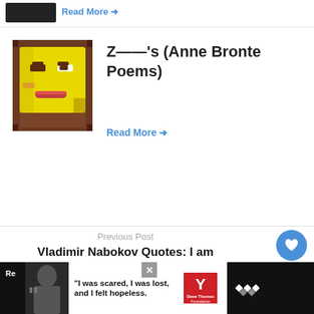[Figure (illustration): Partial view of a previous blog card with dark image thumbnail and 'Read More →' link in blue]
[Figure (illustration): Pixel art yellow smiley face emoji with squinting expression on brown background]
Z——'s (Anne Bronte Poems)
Read More →
Previous Post
Vladimir Nabokov Quotes: I am sufficiently proud my knowing something...
WHAT'S NEXT → Gary Vaynerchuk'...
[Figure (photo): Circular avatar showing book/album cover with dark background for Gary Vaynerchuk section]
[Figure (illustration): Heart icon (white) inside blue circle floating action button]
[Figure (illustration): Share icon inside white circle button]
[Figure (photo): Ad banner: woman photo on dark background with Dave Thomas Foundation for Adoption ad. Text: 'I was scared, I was lost, and I felt hopeless.' with charity logo and Tidal logo]